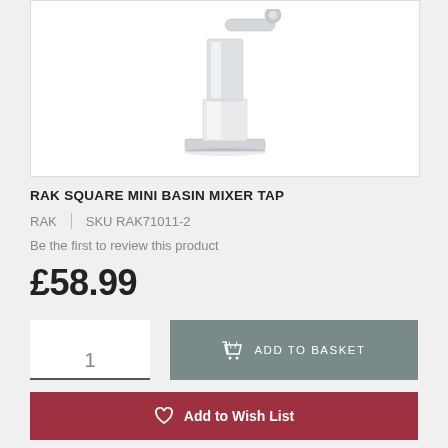[Figure (photo): Chrome square mini basin mixer tap product photo on white background]
RAK SQUARE MINI BASIN MIXER TAP
RAK | SKU RAK71011-2
Be the first to review this product
£58.99
1  ADD TO BASKET
Add to Wish List